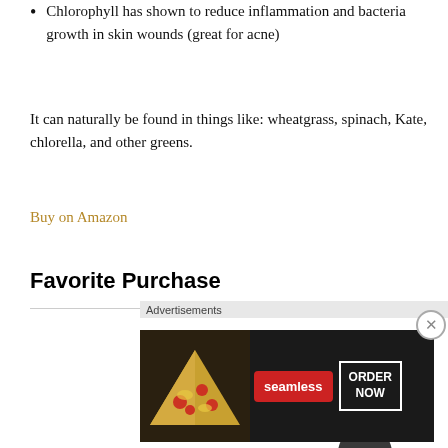Chlorophyll has shown to reduce inflammation and bacteria growth in skin wounds (great for acne)
It can naturally be found in things like: wheatgrass, spinach, Kate, chlorella, and other greens.
Buy on Amazon
Favorite Purchase
[Figure (photo): A handheld device with a rounded rectangular white head and a dark grey handle, resembling a skin-care or beauty tool.]
[Figure (photo): Seamless food ordering advertisement banner featuring pizza, seamless logo in red, and an ORDER NOW button.]